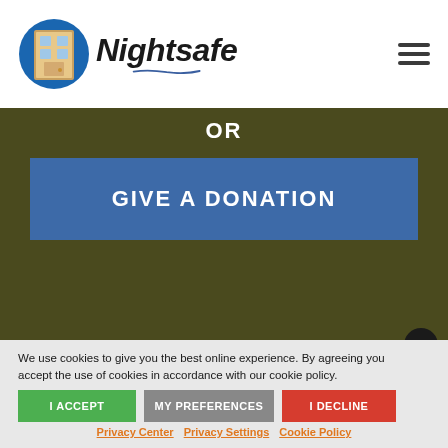Nightsafe
OR
GIVE A DONATION
We use cookies to give you the best online experience. By agreeing you accept the use of cookies in accordance with our cookie policy.
I ACCEPT
MY PREFERENCES
I DECLINE
Privacy Center  Privacy Settings  Cookie Policy